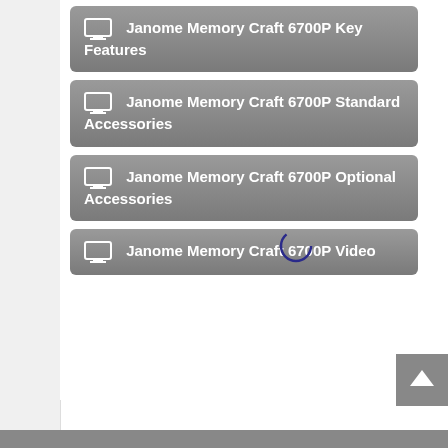Janome Memory Craft 6700P Key Features
Janome Memory Craft 6700P Standard Accessories
Janome Memory Craft 6700P Optional Accessories
Janome Memory Craft 6700P Video